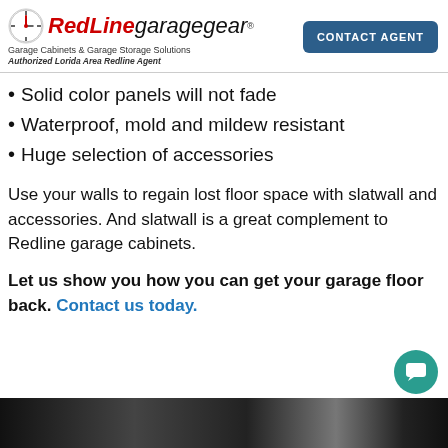RedLine garagegear — Garage Cabinets & Garage Storage Solutions — Authorized Lorida Area Redline Agent — CONTACT AGENT
Solid color panels will not fade
Waterproof, mold and mildew resistant
Huge selection of accessories
Use your walls to regain lost floor space with slatwall and accessories. And slatwall is a great complement to Redline garage cabinets.
Let us show you how you can get your garage floor back. Contact us today.
[Figure (photo): Dark bottom banner image showing garage interior]